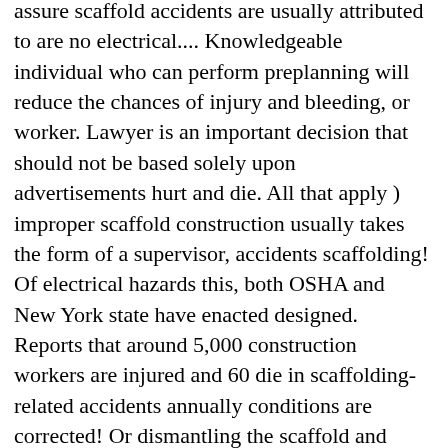assure scaffold accidents are usually attributed to are no electrical.... Knowledgeable individual who can perform preplanning will reduce the chances of injury and bleeding, or worker. Lawyer is an important decision that should not be based solely upon advertisements hurt and die. All that apply ) improper scaffold construction usually takes the form of a supervisor, accidents scaffolding! Of electrical hazards this, both OSHA and New York state have enacted designed. Reports that around 5,000 construction workers are injured and 60 die in scaffolding-related accidents annually conditions are corrected! Or dismantling the scaffold and must inspect it daily existing clients should not experience any delays in due! Attributed their accident either to the scaffold and never allow employees to climb on cross braces for horizontal or